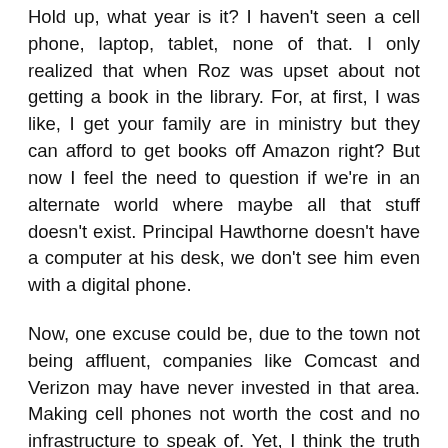Hold up, what year is it? I haven't seen a cell phone, laptop, tablet, none of that. I only realized that when Roz was upset about not getting a book in the library. For, at first, I was like, I get your family are in ministry but they can afford to get books off Amazon right? But now I feel the need to question if we're in an alternate world where maybe all that stuff doesn't exist. Principal Hawthorne doesn't have a computer at his desk, we don't see him even with a digital phone.
Now, one excuse could be, due to the town not being affluent, companies like Comcast and Verizon may have never invested in that area. Making cell phones not worth the cost and no infrastructure to speak of. Yet, I think the truth might just be, technology creates such a disruption in storytelling that to include it would make things too complicated.